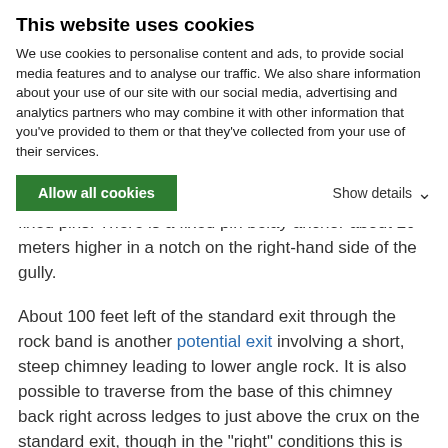This website uses cookies
We use cookies to personalise content and ads, to provide social media features and to analyse our traffic. We also share information about your use of our site with our social media, advertising and analytics partners who may combine it with other information that you've provided to them or that they've collected from your use of their services.
Allow all cookies
Show details
less on the summit. The crux is protected by three fixed pins. There is a fixed pin belay anchor about 20 meters higher in a notch on the right-hand side of the gully.
About 100 feet left of the standard exit through the rock band is another potential exit involving a short, steep chimney leading to lower angle rock. It is also possible to traverse from the base of this chimney back right across ledges to just above the crux on the standard exit, though in the "right" conditions this is quite a bit more tenuous and difficult than the normal route. Fixed pins on the traverse attest to the fact that more than one party has done this. Not recommended